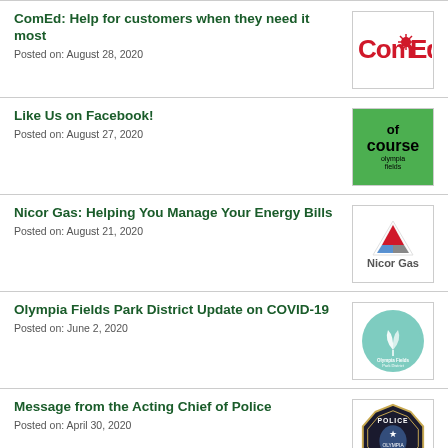ComEd: Help for customers when they need it most
Posted on: August 28, 2020
Like Us on Facebook!
Posted on: August 27, 2020
Nicor Gas: Helping You Manage Your Energy Bills
Posted on: August 21, 2020
Olympia Fields Park District Update on COVID-19
Posted on: June 2, 2020
Message from the Acting Chief of Police
Posted on: April 30, 2020